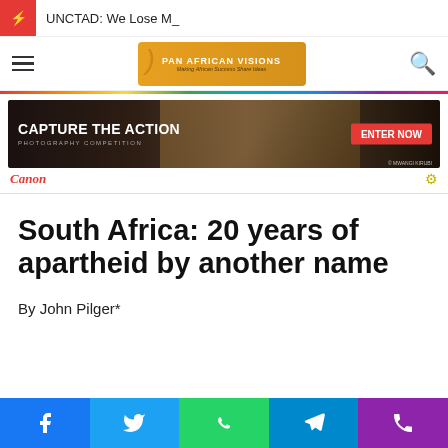UNCTAD: We Lose M_
[Figure (logo): Pan African Visions logo with African continent silhouette and tagline 'Making African Success Share Ideas']
[Figure (photo): Canon photography competition advertisement banner reading 'CAPTURE THE ACTION PHOTOGRAPHY COMPETITION ENTER NOW' with rally car action photo credit to Mwangi Kirubi]
Canon
South Africa: 20 years of apartheid by another name
By John Pilger*
Social share buttons: Facebook, Twitter, WhatsApp, Telegram, Phone